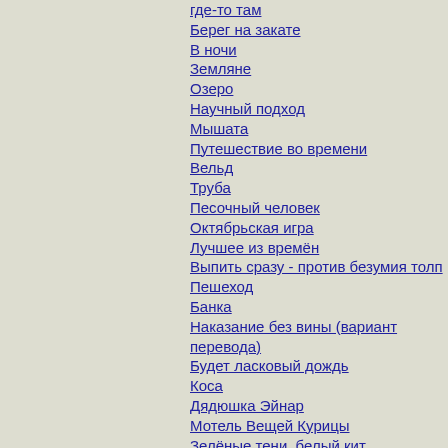где-то там
Берег на закате
В ночи
Земляне
Озеро
Научный подход
Мышата
Путешествие во времени
Вельд
Труба
Песочный человек
Октябрьская игра
Лучшее из времён
Выпить сразу - против безумия толп
Пешеход
Банка
Наказание без вины (вариант перевода)
Будет ласковый дождь
Коса
Дядюшка Эйнар
Мотель Вещей Курицы
Зелёные тени, белый кит
Жила-была старушка
Холодный ветер...